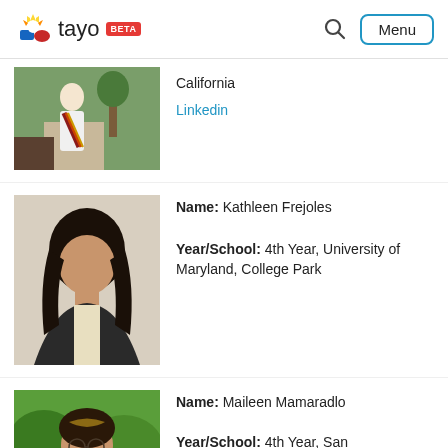tayo BETA — Menu
California
Linkedin
Name: Kathleen Frejoles
Year/School: 4th Year, University of Maryland, College Park
Name: Maileen Mamaradlo
Year/School: 4th Year, San